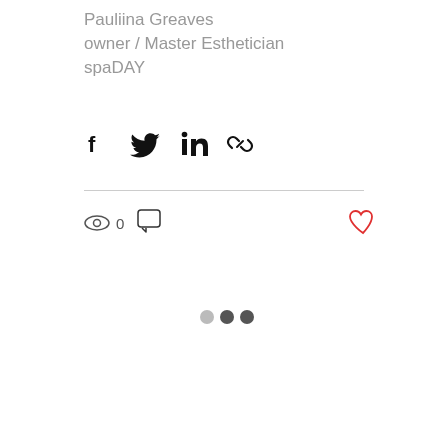Pauliina Greaves
owner / Master Esthetician
spaDAY
[Figure (infographic): Social share buttons row: Facebook icon, Twitter icon, LinkedIn icon, link/chain icon]
[Figure (infographic): Stats row: eye/views icon with count 0, comment bubble icon, heart/like icon (red outline) on right side. Loading indicator with two dark dots in center of page.]